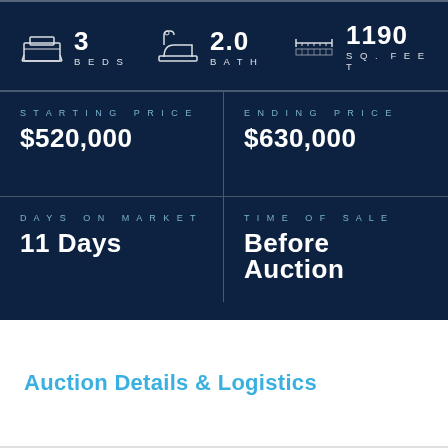[Figure (infographic): Property stats infographic showing 3 beds, 2.0 bath, 1190 sq. feet with icons]
|  |  |
| --- | --- |
| STARTING PRICE | ENDING PRICE |
| $520,000 | $630,000 |
| DAYS ON MARKET | TIME OF SALE |
| 11 Days | Before Auction |
Auction Details & Logistics